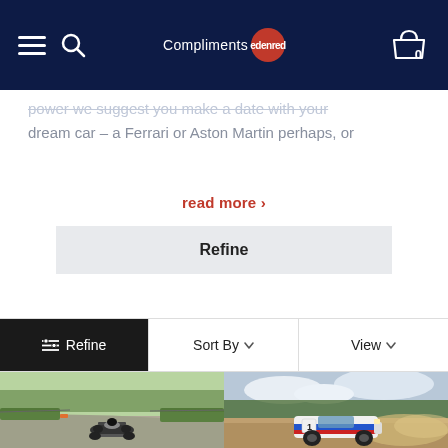Compliments Edenred — navigation bar with hamburger menu, search, logo, and basket (0 items)
power we suggest you make a date with your dream car – a Ferrari or Aston Martin perhaps, or
read more >
Refine
≡ Refine   Sort By ▾   View ▾
[Figure (photo): Open-wheel racing car (Ariel Atom style) on a race track circuit, front view, green grass surrounds, sunny day]
[Figure (photo): White Ford Escort MK2 rally car with red and blue livery and number 1, driving on a dirt/gravel stage kicking up dust, cloudy sky]